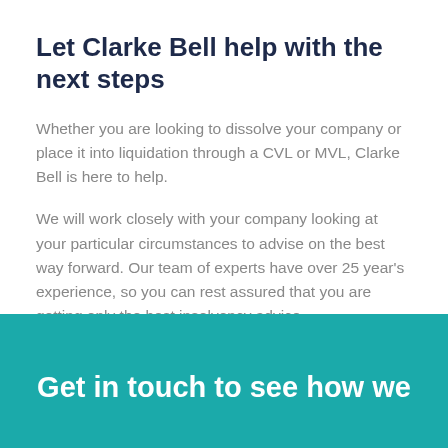Let Clarke Bell help with the next steps
Whether you are looking to dissolve your company or place it into liquidation through a CVL or MVL, Clarke Bell is here to help.
We will work closely with your company looking at your particular circumstances to advise on the best way forward. Our team of experts have over 25 year's experience, so you can rest assured that you are getting only the best insolvency advice.
Get in touch to see how we can help